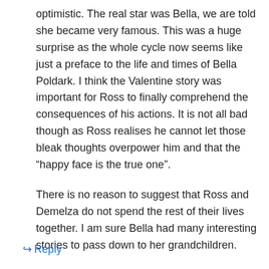optimistic. The real star was Bella, we are told she became very famous. This was a huge surprise as the whole cycle now seems like just a preface to the life and times of Bella Poldark. I think the Valentine story was important for Ross to finally comprehend the consequences of his actions. It is not all bad though as Ross realises he cannot let those bleak thoughts overpower him and that the “happy face is the true one”.
There is no reason to suggest that Ross and Demelza do not spend the rest of their lives together. I am sure Bella had many interesting stories to pass down to her grandchildren.
↪ Reply